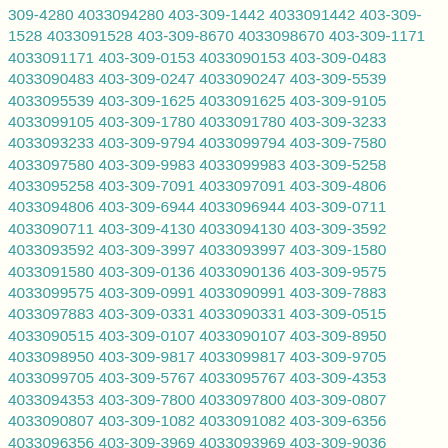309-4280 4033094280 403-309-1442 4033091442 403-309-1528 4033091528 403-309-8670 4033098670 403-309-1171 4033091171 403-309-0153 4033090153 403-309-0483 4033090483 403-309-0247 4033090247 403-309-5539 4033095539 403-309-1625 4033091625 403-309-9105 4033099105 403-309-1780 4033091780 403-309-3233 4033093233 403-309-9794 4033099794 403-309-7580 4033097580 403-309-9983 4033099983 403-309-5258 4033095258 403-309-7091 4033097091 403-309-4806 4033094806 403-309-6944 4033096944 403-309-0711 4033090711 403-309-4130 4033094130 403-309-3592 4033093592 403-309-3997 4033093997 403-309-1580 4033091580 403-309-0136 4033090136 403-309-9575 4033099575 403-309-0991 4033090991 403-309-7883 4033097883 403-309-0331 4033090331 403-309-0515 4033090515 403-309-0107 4033090107 403-309-8950 4033098950 403-309-9817 4033099817 403-309-9705 4033099705 403-309-5767 4033095767 403-309-4353 4033094353 403-309-7800 4033097800 403-309-0807 4033090807 403-309-1082 4033091082 403-309-6356 4033096356 403-309-3969 4033093969 403-309-9036 4033099036 403-309-5162 4033095162 403-309-1351 4033091351 403-309-2508 4033092508 403-309-8596 4033098596 403-309-9399 4033099399 403-309-8963 4033098963 403-309-9315 4033099315 403-309-4812 4033094812 403-309-9841 4033099841 403-309-1498 4033091498 403-309-7281 4033097281 403-309-2804 4033092804 403-309-4132 4033094132 403-309-4258 4033094258 403-309-0506 4033090506 403-309-4594 4033094594 403-309-2879 4033092879 403-309-3368 4033093368 403-309-2469 4033092469 403-309-4185 4033094185 403-309-6266 4033096266 403-309-3995 4033093995 403-